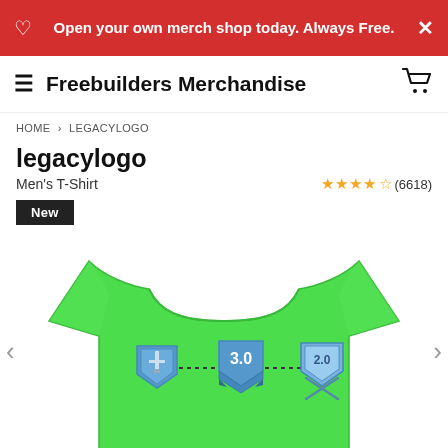Open your own merch shop today. Always Free.
Freebuilders Merchandise
HOME > LEGACYLOGO
legacylogo
Men's T-Shirt
★★★★½ (6618)
New
[Figure (photo): Green men's t-shirt with a pixel-art gaming logo design showing three blue shield/badge icons connected by dotted lines. The badges show a sword, '3.0', and '2.0' with crossed swords.]